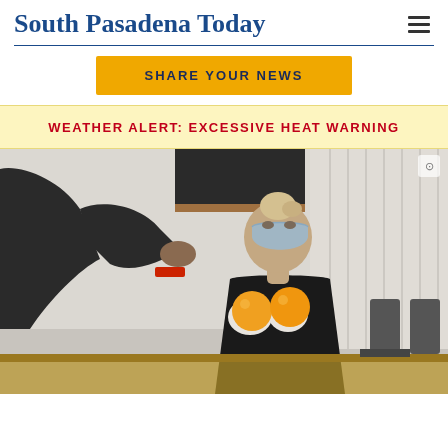South Pasadena Today
SHARE YOUR NEWS
WEATHER ALERT: EXCESSIVE HEAT WARNING
[Figure (photo): A woman wearing a face mask and gloves holds oranges while receiving food from someone across a table in a community indoor setting. She is wearing dark clothing and has her hair pulled back.]